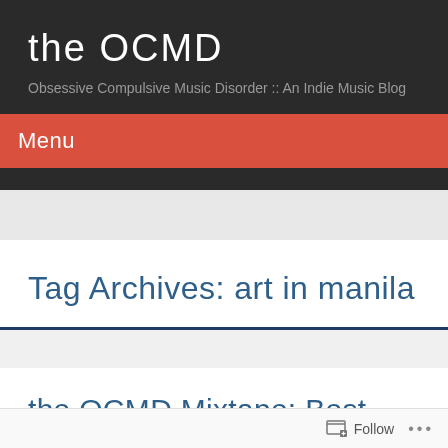the OCMD
Obsessive Compulsive Music Disorder :: An Indie Music Blog
Menu
Tag Archives: art in manila
the OCMD Mixtape: Best Songs of 2008…So Far
Follow